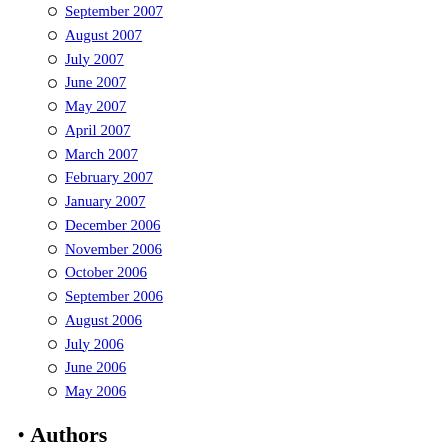September 2007
August 2007
July 2007
June 2007
May 2007
April 2007
March 2007
February 2007
January 2007
December 2006
November 2006
October 2006
September 2006
August 2006
July 2006
June 2006
May 2006
Authors
Ben Lamb
Brent Walsh
Carla Peck
Christen Peters
David Squire